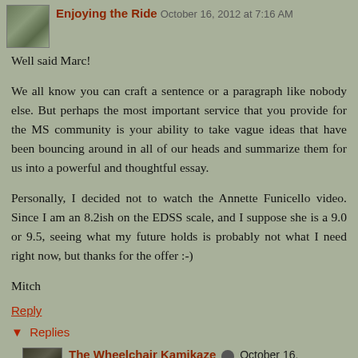Enjoying the Ride  October 16, 2012 at 7:16 AM
Well said Marc!
We all know you can craft a sentence or a paragraph like nobody else. But perhaps the most important service that you provide for the MS community is your ability to take vague ideas that have been bouncing around in all of our heads and summarize them for us into a powerful and thoughtful essay.
Personally, I decided not to watch the Annette Funicello video. Since I am an 8.2ish on the EDSS scale, and I suppose she is a 9.0 or 9.5, seeing what my future holds is probably not what I need right now, but thanks for the offer :-)
Mitch
Reply
▾  Replies
The Wheelchair Kamikaze  October 16,